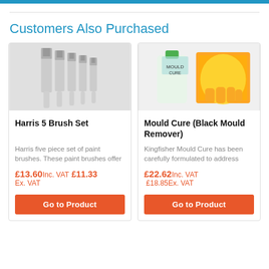Customers Also Purchased
[Figure (photo): Harris 5 Brush Set - five white paint brushes standing upright on white background]
Harris 5 Brush Set
Harris five piece set of paint brushes. These paint brushes offer
£13.60Inc. VAT £11.33 Ex. VAT
[Figure (photo): Mould Cure (Black Mould Remover) - bottle of cleaning product next to orange rubber gloves]
Mould Cure (Black Mould Remover)
Kingfisher Mould Cure has been carefully formulated to address
£22.62Inc. VAT £18.85Ex. VAT